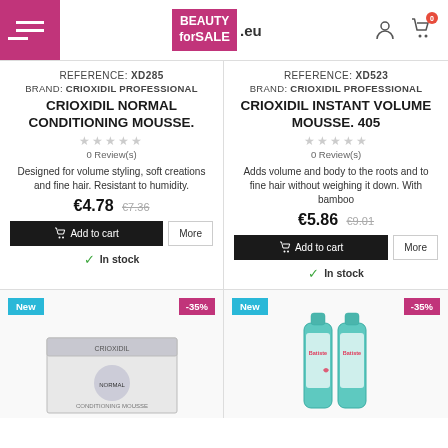BEAUTY for SALE .eu — navigation header with menu, logo, user icon, cart icon (0 items)
REFERENCE: XD285
BRAND: CRIOXIDIL PROFESSIONAL
CRIOXIDIL NORMAL CONDITIONING MOUSSE.
0 Review(s)
Designed for volume styling, soft creations and fine hair. Resistant to humidity.
€4.78  €7.36
Add to cart  More
In stock
REFERENCE: XD523
BRAND: CRIOXIDIL PROFESSIONAL
CRIOXIDIL INSTANT VOLUME MOUSSE. 405
0 Review(s)
Adds volume and body to the roots and to fine hair without weighing it down. With bamboo
€5.86  €9.01
Add to cart  More
In stock
[Figure (photo): Bottom-left product card with New badge and -35% discount badge, showing a box product image (partially visible)]
[Figure (photo): Bottom-right product card with New badge and -35% discount badge, showing two spray cans (Batiste brand)]